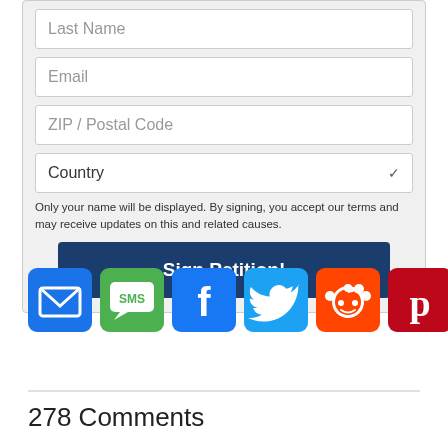[Figure (screenshot): A petition sign-up form with input fields for Last Name, Email, ZIP/Postal Code, and a Country dropdown, followed by a disclaimer text and a 'Sign Petition!' button]
Only your name will be displayed. By signing, you accept our terms and may receive updates on this and related causes.
[Figure (infographic): Row of social sharing icons: Email (blue), SMS (green), Facebook (blue), Twitter (light blue), Reddit (orange), Pinterest (dark red), More/Plus (blue)]
278 Comments